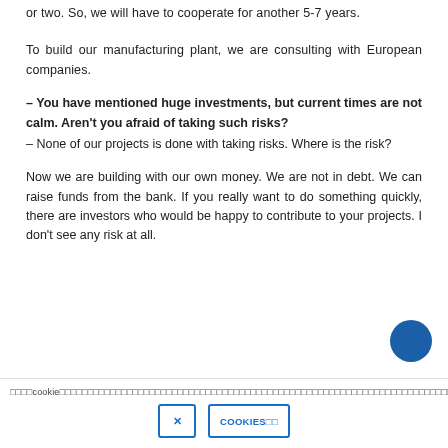or two. So, we will have to cooperate for another 5-7 years.
To build our manufacturing plant, we are consulting with European companies.
– You have mentioned huge investments, but current times are not calm. Aren't you afraid of taking such risks?
– None of our projects is done with taking risks. Where is the risk?
Now we are building with our own money. We are not in debt. We can raise funds from the bank. If you really want to do something quickly, there are investors who would be happy to contribute to your projects. I don't see any risk at all.
□□□□cookie□□□□□□□□□□□□□□□□□□□□□□□□□□□□□□□□□□□□□□□□□□□□□□□□□□□□  □  COOKIES□□